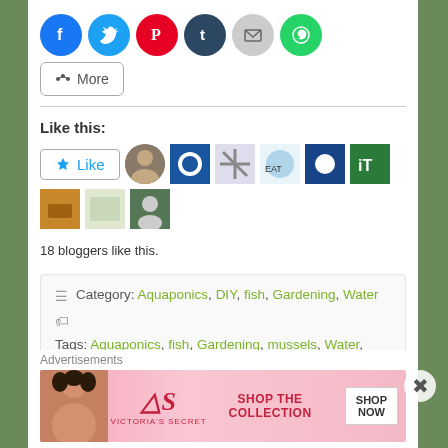[Figure (infographic): Row of social sharing buttons: Facebook (blue circle), Twitter (cyan circle), Pinterest (red circle), Tumblr (dark blue circle), Email (grey circle), WhatsApp (green circle), and a 'More' button with share icon]
Like this:
[Figure (infographic): Like button with star icon and row of blogger avatar thumbnails (9 avatars shown)]
18 bloggers like this.
Category: Aquaponics, DIY, fish, Gardening, Water
Tags: Aquaponics, fish, Gardening, mussels, Water, water filtration
Advertisements
[Figure (infographic): Victoria's Secret advertisement banner: pink background, woman model on left, VS logo, text 'SHOP THE COLLECTION', and 'SHOP NOW' button on right]